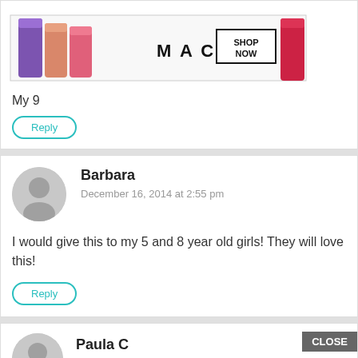[Figure (screenshot): MAC cosmetics lipstick advertisement banner with 'SHOP NOW' button, partially visible at top]
My 9
Reply
Barbara
December 16, 2014 at 2:55 pm
I would give this to my 5 and 8 year old girls! They will love this!
Reply
Paula C
CLOSE
[Figure (screenshot): MAC cosmetics lipstick advertisement banner with 'SHOP NOW' button, partially visible at bottom]